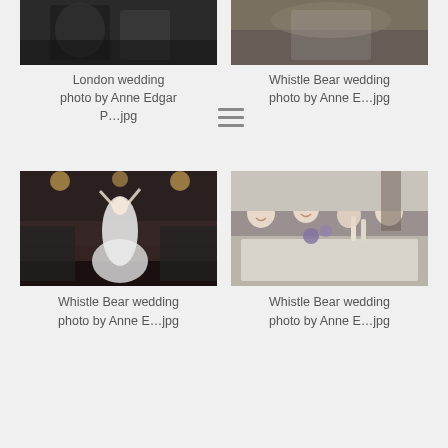[Figure (photo): Cropped black and white wedding photo at top left, partially visible]
[Figure (photo): Cropped color wedding photo at top right, partially visible]
London wedding photo by Anne Edgar P…jpg
Whistle Bear wedding photo by Anne E…jpg
[Figure (photo): Color photo of bride tossing bouquet at wedding reception with crowd]
[Figure (photo): Color photo of wedding party at table, smiling and celebrating]
Whistle Bear wedding photo by Anne E…jpg
Whistle Bear wedding photo by Anne E…jpg